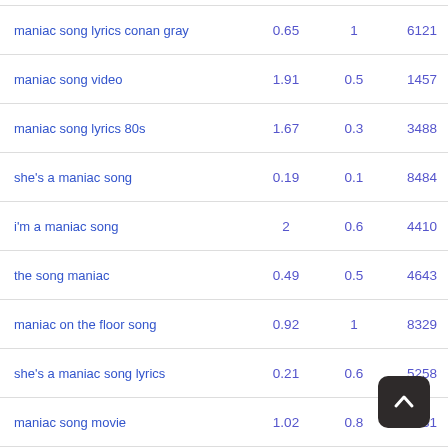| Keyword | Col1 | Col2 | Col3 | Badge |
| --- | --- | --- | --- | --- |
| maniac song lyrics conan gray | 0.65 | 1 | 6121 | 3 |
| maniac song video | 1.91 | 0.5 | 1457 | 8 |
| maniac song lyrics 80s | 1.67 | 0.3 | 3488 | 4 |
| she's a maniac song | 0.19 | 0.1 | 8484 | 3 |
| i'm a maniac song | 2 | 0.6 | 4410 | 2 |
| the song maniac | 0.49 | 0.5 | 4643 | 8 |
| maniac on the floor song | 0.92 | 1 | 8329 | 1 |
| she's a maniac song lyrics | 0.21 | 0.6 | 5258 | 8 |
| maniac song movie | 1.02 | 0.8 | 2581 | 4 |